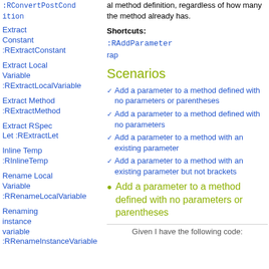:RConvertPostCondition
al method definition, regardless of how many the method already has.
Extract Constant :RExtractConstant
Shortcuts: :RAddParameter rap
Extract Local Variable :RExtractLocalVariable
Scenarios
Extract Method :RExtractMethod
Add a parameter to a method defined with no parameters or parentheses
Add a parameter to a method defined with no parameters
Extract RSpec Let :RExtractLet
Add a parameter to a method with an existing parameter
Inline Temp :RInlineTemp
Add a parameter to a method with an existing parameter but not brackets
Rename Local Variable :RRenameLocalVariable
Renaming instance variable :RRenameInstanceVariable
Add a parameter to a method defined with no parameters or parentheses
Given I have the following code: